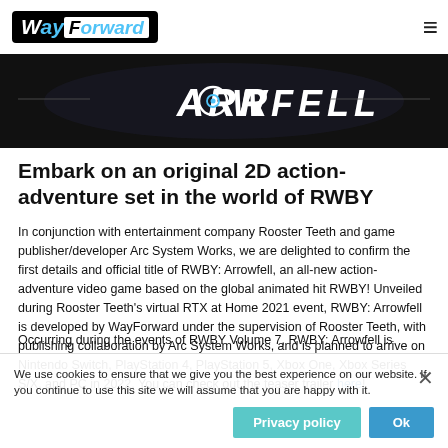WayForward [hamburger menu]
[Figure (screenshot): Dark banner image with the text ARROWFELL in large white stylized letters on a black background]
Embark on an original 2D action-adventure set in the world of RWBY
In conjunction with entertainment company Rooster Teeth and game publisher/developer Arc System Works, we are delighted to confirm the first details and official title of RWBY: Arrowfell, an all-new action-adventure video game based on the global animated hit RWBY! Unveiled during Rooster Teeth's virtual RTX at Home 2021 event, RWBY: Arrowfell is developed by WayForward under the supervision of Rooster Teeth, with publishing collaboration by Arc System Works, and is planned to arrive on Nintendo Switch, PlayStation 4, PlayStation 5, Xbox One, Xbox Series S/X, and PC in 2022. You can check out the teaser trailer here!
Occurring during the events of RWBY Volume 7, RWBY: Arrowfell is
We use cookies to ensure that we give you the best experience on our website. If you continue to use this site we will assume that you are happy with it.
Privacy policy | Ok